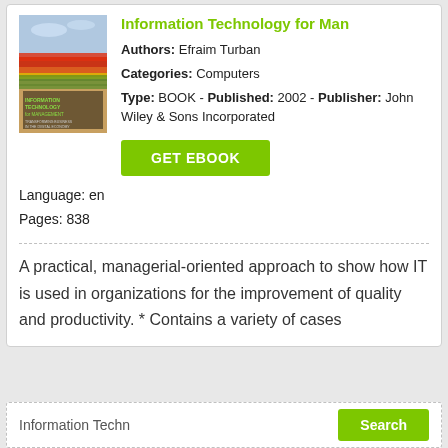Information Technology for Man
Authors: Efraim Turban
Categories: Computers
Type: BOOK - Published: 2002 - Publisher: John Wiley & Sons Incorporated
Language: en
Pages: 838
GET EBOOK
A practical, managerial-oriented approach to show how IT is used in organizations for the improvement of quality and productivity. * Contains a variety of cases
Information Techn
Search